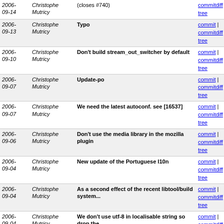| Date | Author | Message | Links |
| --- | --- | --- | --- |
| 2006-09-14 | Christophe Mutricy | (closes #740) | commit | commitdiff | tree |
| 2006-09-13 | Christophe Mutricy | Typo | commit | commitdiff | tree |
| 2006-09-10 | Christophe Mutricy | Don't build stream_out_switcher by default | commit | commitdiff | tree |
| 2006-09-07 | Christophe Mutricy | Update-po | commit | commitdiff | tree |
| 2006-09-07 | Christophe Mutricy | We need the latest autoconf. see [16537] | commit | commitdiff | tree |
| 2006-09-06 | Christophe Mutricy | Don't use the media library in the mozilla plugin | commit | commitdiff | tree |
| 2006-09-04 | Christophe Mutricy | New update of the Portuguese l10n | commit | commitdiff | tree |
| 2006-09-04 | Christophe Mutricy | As a second effect of the recent libtool/build system... | commit | commitdiff | tree |
| 2006-09-04 | Christophe Mutricy | We don't use utf-8 in localisable string so drop the... | commit | commitdiff | tree |
| 2006-09-04 | Christophe Mutricy | * Tell gettext that we use UTF-8. | commit | commitdiff | tree |
| 2006-09-03 | Christophe Mutricy | Start of the work of Ari Constancio on Portuguese localisation | commit | commitdiff | tree |
| 2006-09-02 | Christophe Mutricy | hmm One of yesterday commit broke binary compatibility. | commit | commitdiff | tree |
| 2006-09-02 | Christophe Mutricy | Use our own pkg-config macro. So we don't have problems... | commit | commitdiff | tree |
| 2006-... | Christophe Mutricy | Don't compile the motion plugin... | commit | |